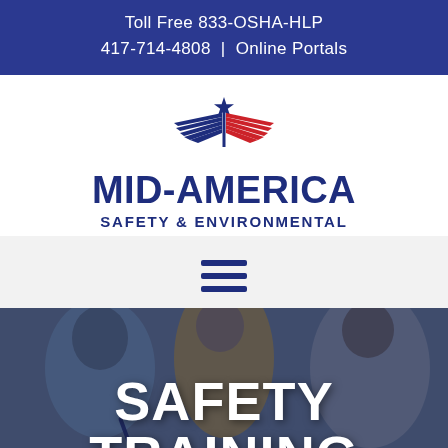Toll Free 833-OSHA-HLP
417-714-4808 | Online Portals
[Figure (logo): Mid-America Safety & Environmental logo with eagle wings in blue and red stripes with a star, above the company name]
MID-AMERICA
SAFETY & ENVIRONMENTAL
[Figure (other): Hamburger menu icon with three horizontal dark blue bars]
[Figure (photo): Background photo of people at a training session, partially darkened with overlay]
SAFETY
TRAINING